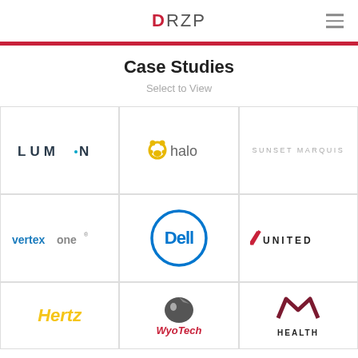DRZP
Case Studies
Select to View
[Figure (logo): LUMEN logo in dark teal with dot accent]
[Figure (logo): halo logo with paw print icon in yellow and gray text]
[Figure (logo): SUNSET MARQUIS logo in light gray uppercase letters]
[Figure (logo): vertexone logo in blue and gray]
[Figure (logo): Dell logo in blue circle]
[Figure (logo): United Airlines logo with diagonal stripe]
[Figure (logo): Hertz logo in yellow italic]
[Figure (logo): WyoTech logo with eagle and red italic text]
[Figure (logo): M Health logo with maroon M and HEALTH text]